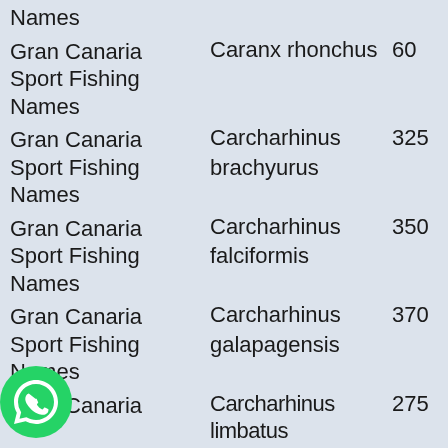| Names |  |  |
| Gran Canaria Sport Fishing | Caranx rhonchus | 60 |
| Names |  |  |
| Gran Canaria Sport Fishing | Carcharhinus brachyurus | 325 |
| Names |  |  |
| Gran Canaria Sport Fishing | Carcharhinus falciformis | 350 |
| Names |  |  |
| Gran Canaria Sport Fishing | Carcharhinus galapagensis | 370 |
| Names |  |  |
| Gran Canaria Sport Fishing | Carcharhinus limbatus | 275 |
| Names |  |  |
| Gran Canaria Sport Fishing | Carcharhinus longimanus | 400 |